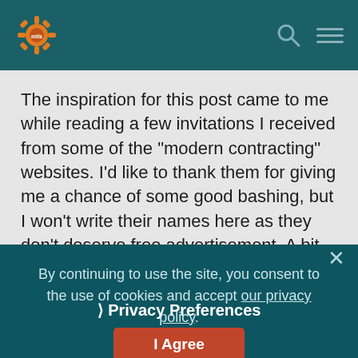[Header bar with logo and navigation icons]
The inspiration for this post came to me while reading a few invitations I received from some of the "modern contracting" websites. I'd like to thank them for giving me a chance of some good bashing, but I won't write their names here as they don't deserve free advertisement. A bit of background
By continuing to use the site, you consent to the use of cookies and accept our privacy policy.
Privacy Preferences
I Agree